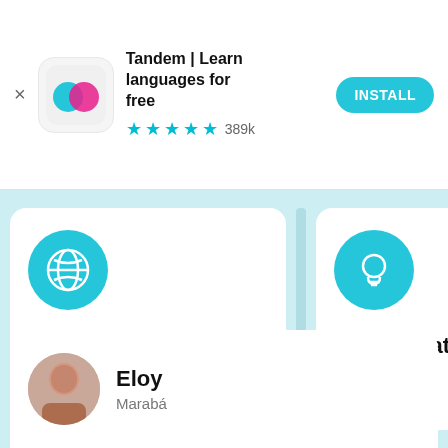[Figure (screenshot): App store banner for Tandem language learning app with close button, app icon, title, star rating, and INSTALL button]
Tandem | Learn languages for free
★★★★½ 389k
[Figure (screenshot): Feature carousel showing two cards: 'Join a global community' with globe icon, and 'Learn what matters to you' with lightbulb icon]
Join a global community
Learn what matters to you
[Figure (photo): Profile card showing a young man named Eloy from Marabá]
Eloy
Marabá